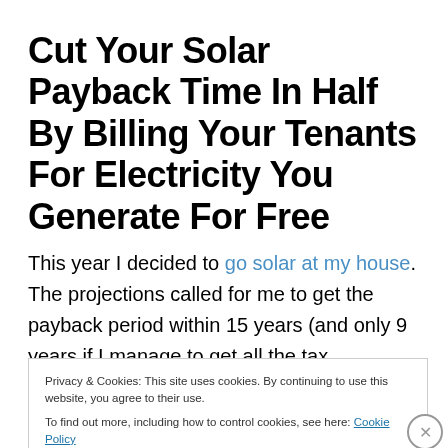Cut Your Solar Payback Time In Half By Billing Your Tenants For Electricity You Generate For Free
This year I decided to go solar at my house. The projections called for me to get the payback period within 15 years (and only 9 years if I manage to get all the tax
Privacy & Cookies: This site uses cookies. By continuing to use this website, you agree to their use. To find out more, including how to control cookies, see here: Cookie Policy